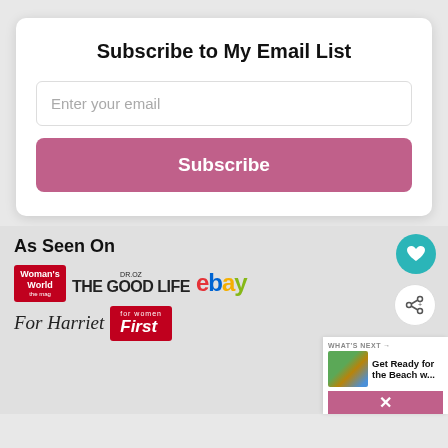Subscribe to My Email List
Enter your email
Subscribe
As Seen On
[Figure (logo): As Seen On logos: Woman's World, DR.OZ THE GOOD LIFE, eBay, For Harriet, First for women, and a beach article thumbnail with 'WHAT'S NEXT → Get Ready for the Beach w...' panel]